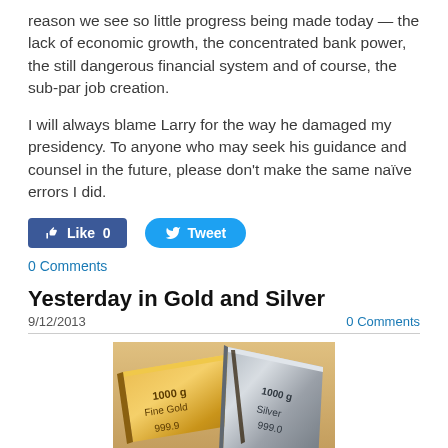reason we see so little progress being made today — the lack of economic growth, the concentrated bank power, the still dangerous financial system and of course, the sub-par job creation.
I will always blame Larry for the way he damaged my presidency. To anyone who may seek his guidance and counsel in the future, please don't make the same naïve errors I did.
Like 0    Tweet
0 Comments
Yesterday in Gold and Silver
9/12/2013
0 Comments
[Figure (photo): Photo of gold and silver bars labeled '1000 g Fine Gold 999.9' and '1000 g Silver 999.0']